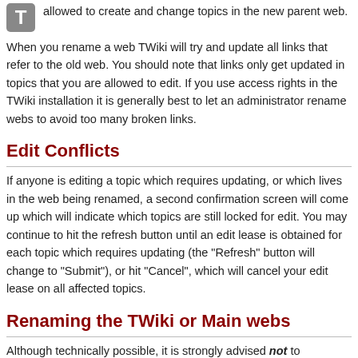allowed to create and change topics in the new parent web.
When you rename a web TWiki will try and update all links that refer to the old web. You should note that links only get updated in topics that you are allowed to edit. If you use access rights in the TWiki installation it is generally best to let an administrator rename webs to avoid too many broken links.
Edit Conflicts
If anyone is editing a topic which requires updating, or which lives in the web being renamed, a second confirmation screen will come up which will indicate which topics are still locked for edit. You may continue to hit the refresh button until an edit lease is obtained for each topic which requires updating (the "Refresh" button will change to "Submit"), or hit "Cancel", which will cancel your edit lease on all affected topics.
Renaming the TWiki or Main webs
Although technically possible, it is strongly advised not to rename the TWiki or Main webs. It can disrupt your